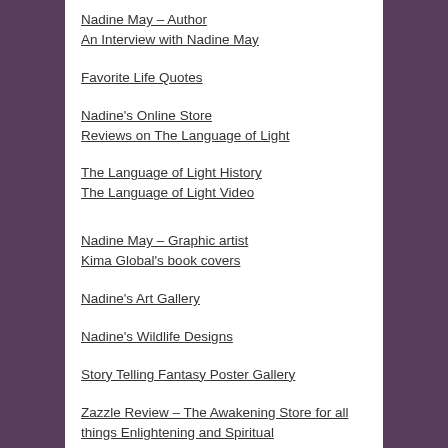Nadine May – Author
An Interview with Nadine May
Favorite Life Quotes
Nadine's Online Store
Reviews on The Language of Light
The Language of Light History
The Language of Light Video
Nadine May – Graphic artist
Kima Global's book covers
Nadine's Art Gallery
Nadine's Wildlife Designs
Story Telling Fantasy Poster Gallery
Zazzle Review – The Awakening Store for all things Enlightening and Spiritual
Network links
My Articles on Writing sites
Other lightworker articles